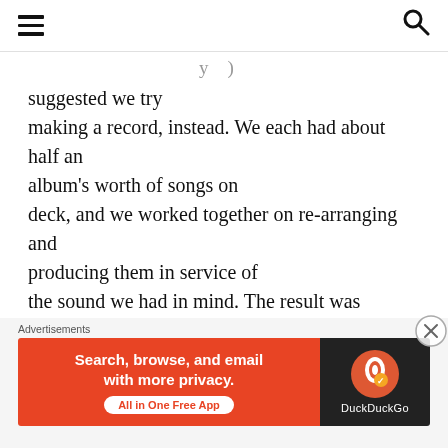[hamburger menu] [search icon]
suggested we try making a record, instead. We each had about half an album's worth of songs on deck, and we worked together on re-arranging and producing them in service of the sound we had in mind. The result was McGinty & White Sing Selections From The McGinty & White Songbook (2009). We did eventually follow through on the Jimmy Webb concept, and presented McGinty & White Sing Webb at Joe's Pub in 2011. You have to prioritize, to a
Advertisements — Search, browse, and email with more privacy. All in One Free App — DuckDuckGo